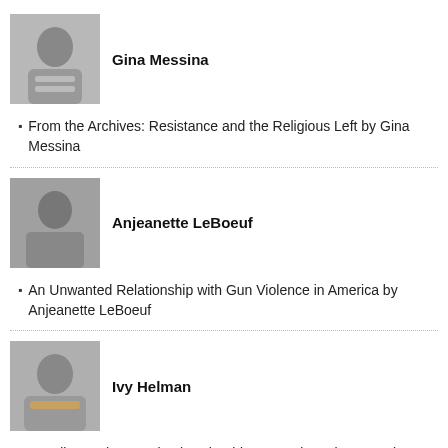[Figure (photo): Grayscale photo of Gina Messina holding books]
Gina Messina
From the Archives: Resistance and the Religious Left by Gina Messina
[Figure (photo): Grayscale photo of Anjeanette LeBoeuf]
Anjeanette LeBoeuf
An Unwanted Relationship with Gun Violence in America by Anjeanette LeBoeuf
[Figure (photo): Grayscale photo of Ivy Helman]
Ivy Helman
On Eikev: Whose Behavior Should We Emulate? by Ivy Helman
[Figure (photo): Grayscale photo of Joyce Zonana]
Joyce Zonana
In Memoriam – Carol P. Christ by Joyce Zonana
[Figure (photo): Color photo of Janet Rudolph]
Janet Rudolph